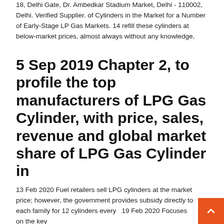18, Delhi Gate, Dr. Ambedkar Stadium Market, Delhi - 110002, Delhi. Verified Supplier. of Cylinders in the Market for a Number of Early-Stage LP Gas Markets. 14 refill these cylinders at below-market prices, almost always without any knowledge,
5 Sep 2019 Chapter 2, to profile the top manufacturers of LPG Gas Cylinder, with price, sales, revenue and global market share of LPG Gas Cylinder in
13 Feb 2020 Fuel retailers sell LPG cylinders at the market price; however, the government provides subsidy directly to each family for 12 cylinders every  19 Feb 2020 Focuses on the key